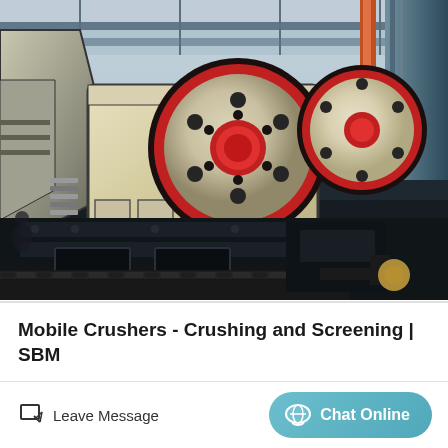[Figure (photo): Industrial mobile jaw crusher machine with large red and cream colored flywheels/wheels, black steel frame and chassis, photographed in a factory/warehouse setting with structural steel beams and ceiling visible in the background]
Mobile Crushers - Crushing and Screening | SBM
Leave Message
Chat Online